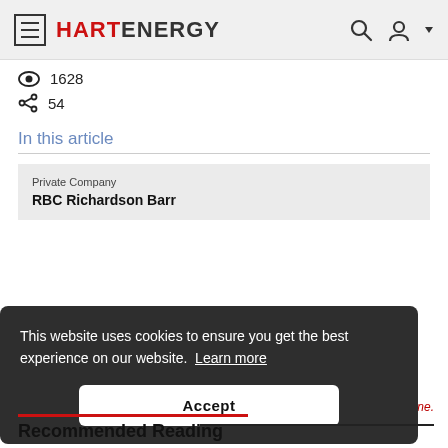HART ENERGY
1628
54
In this article
Private Company
RBC Richardson Barr
This website uses cookies to ensure you get the best experience on our website. Learn more
Accept
Recommended Reading